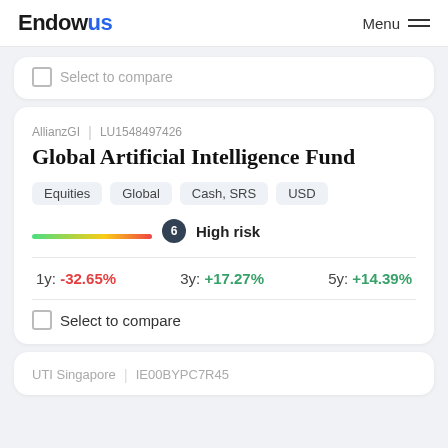Endowus | Menu
Select to compare
AllianzGI | LU1548497426
Global Artificial Intelligence Fund
Equities
Global
Cash, SRS
USD
6 High risk
1y: -32.65%  3y: +17.27%  5y: +14.39%
Select to compare
UTI Singapore | IE00BYPC7R45